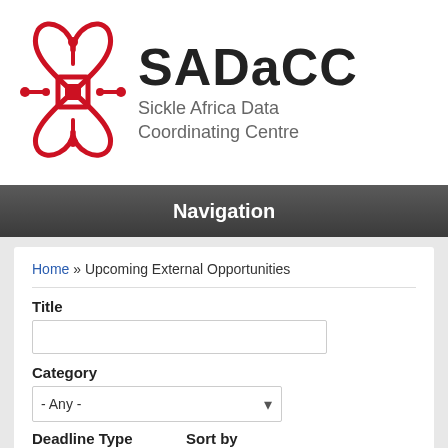[Figure (logo): SADaCC logo with red network/circuit icon and text 'SADaCC Sickle Africa Data Coordinating Centre']
Navigation
Home » Upcoming External Opportunities
Title
Category
- Any -
Deadline Type
Sort by
- Any -
Submitted On
Order